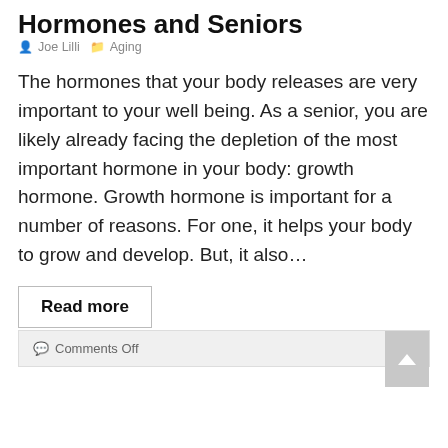Hormones and Seniors
Joe Lilli  Aging
The hormones that your body releases are very important to your well being. As a senior, you are likely already facing the depletion of the most important hormone in your body: growth hormone. Growth hormone is important for a number of reasons. For one, it helps your body to grow and develop. But, it also…
Read more
Comments Off